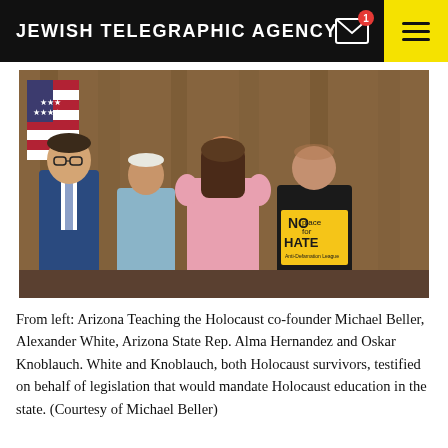JEWISH TELEGRAPHIC AGENCY
[Figure (photo): Four people standing together: from left, a man in a blue suit with glasses, an elderly man in a light blue shirt, a woman in a pink blouse, and an elderly man in a black 'NO place for HATE Anti-Defamation League' t-shirt. An American flag is visible in the background.]
From left: Arizona Teaching the Holocaust co-founder Michael Beller, Alexander White, Arizona State Rep. Alma Hernandez and Oskar Knoblauch. White and Knoblauch, both Holocaust survivors, testified on behalf of legislation that would mandate Holocaust education in the state. (Courtesy of Michael Beller)